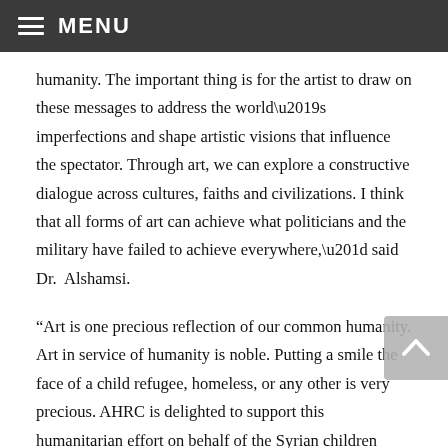MENU
humanity. The important thing is for the artist to draw on these messages to address the world’s imperfections and shape artistic visions that influence the spectator. Through art, we can explore a constructive dialogue across cultures, faiths and civilizations. I think that all forms of art can achieve what politicians and the military have failed to achieve everywhere,” said Dr. Alshamsi.
“Art is one precious reflection of our common humanity. Art in service of humanity is noble. Putting a smile the face of a child refugee, homeless, or any other is very precious. AHRC is delighted to support this humanitarian effort on behalf of the Syrian children refugees,” said Imad Hamad, AHRC’s Executive Director. “Art is the ambassador of love that every person deserves, especially those less fortunate and those victimized by the trauma of wars and conflict,” continued Hamad.